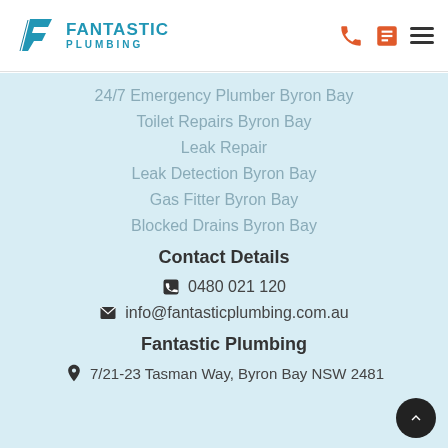[Figure (logo): Fantastic Plumbing logo with stylized F icon in blue and company name]
24/7 Emergency Plumber Byron Bay
Toilet Repairs Byron Bay
Leak Repair
Leak Detection Byron Bay
Gas Fitter Byron Bay
Blocked Drains Byron Bay
Contact Details
0480 021 120
info@fantasticplumbing.com.au
Fantastic Plumbing
7/21-23 Tasman Way, Byron Bay NSW 2481